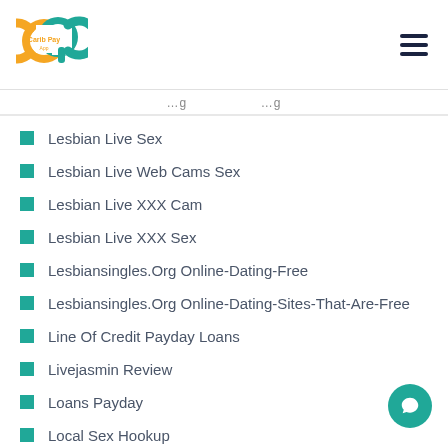[Figure (logo): Carib Pay App logo — overlapping orange and teal C and P letters]
...g ... ...g
Lesbian Live Sex
Lesbian Live Web Cams Sex
Lesbian Live XXX Cam
Lesbian Live XXX Sex
Lesbiansingles.Org Online-Dating-Free
Lesbiansingles.Org Online-Dating-Sites-That-Are-Free
Line Of Credit Payday Loans
Livejasmin Review
Loans Payday
Local Sex Hookup